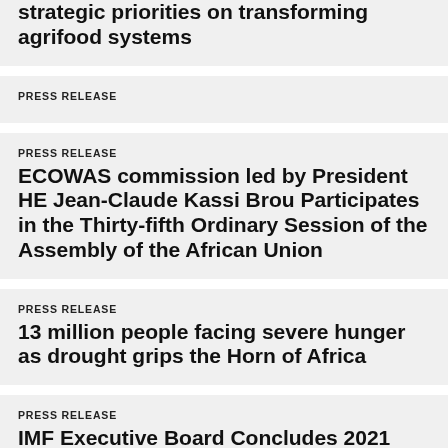strategic priorities on transforming agrifood systems
PRESS RELEASE
ECOWAS commission led by President HE Jean-Claude Kassi Brou Participates in the Thirty-fifth Ordinary Session of the Assembly of the African Union
PRESS RELEASE
13 million people facing severe hunger as drought grips the Horn of Africa
PRESS RELEASE
IMF Executive Board Concludes 2021 Article IV Consultation with Nigeria